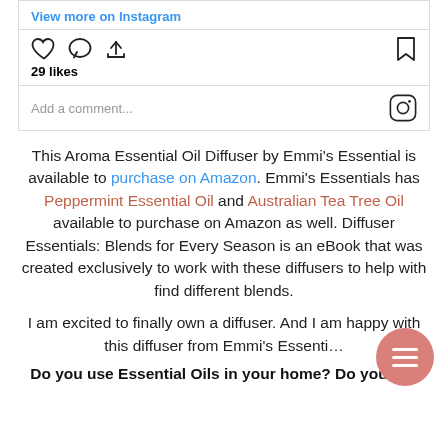[Figure (screenshot): Instagram widget showing 'View more on Instagram' link, action icons (like, comment, share, bookmark), 29 likes count, and an 'Add a comment...' input with Instagram logo icon]
This Aroma Essential Oil Diffuser by Emmi's Essential is available to purchase on Amazon. Emmi's Essentials has Peppermint Essential Oil and Australian Tea Tree Oil available to purchase on Amazon as well. Diffuser Essentials: Blends for Every Season is an eBook that was created exclusively to work with these diffusers to help with find different blends.
I am excited to finally own a diffuser. And I am happy with this diffuser from Emmi's Essenti...
Do you use Essential Oils in your home? Do you like